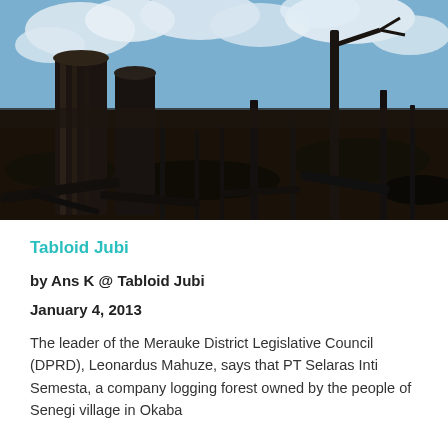[Figure (photo): Burned and logged forest area showing charred tree stumps and debris against a partly cloudy sky]
Tabloid Jubi
by Ans K @ Tabloid Jubi
January 4, 2013
The leader of the Merauke District Legislative Council (DPRD), Leonardus Mahuze, says that PT Selaras Inti Semesta, a company logging forest owned by the people of Senegi village in Okaba